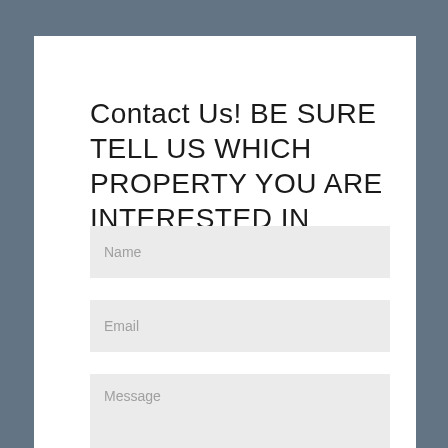Contact Us! BE SURE TELL US WHICH PROPERTY YOU ARE INTERESTED IN
Name
Email
Message